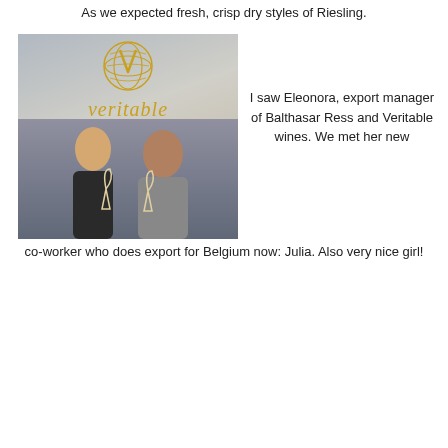As we expected fresh, crisp dry styles of Riesling.
[Figure (photo): Two women smiling and holding wine glasses in front of a white Veritable Group display backdrop with a gold decorative globe logo and the word 'veritable' in gold italic script.]
I saw Eleonora, export manager of Balthasar Ress and Veritable wines. We met her new co-worker who does export for Belgium now: Julia. Also very nice girl!